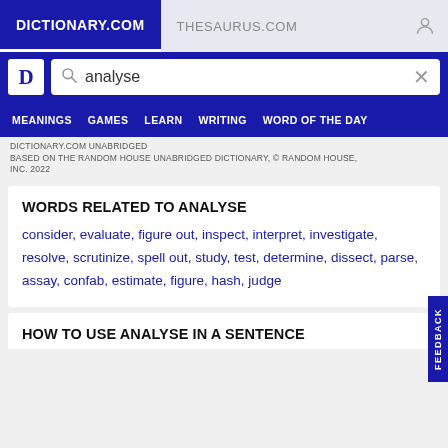DICTIONARY.COM | THESAURUS.COM
DICTIONARY.COM UNABRIDGED
BASED ON THE RANDOM HOUSE UNABRIDGED DICTIONARY, © RANDOM HOUSE, INC. 2022
WORDS RELATED TO ANALYSE
consider, evaluate, figure out, inspect, interpret, investigate, resolve, scrutinize, spell out, study, test, determine, dissect, parse, assay, confab, estimate, figure, hash, judge
HOW TO USE ANALYSE IN A SENTENCE